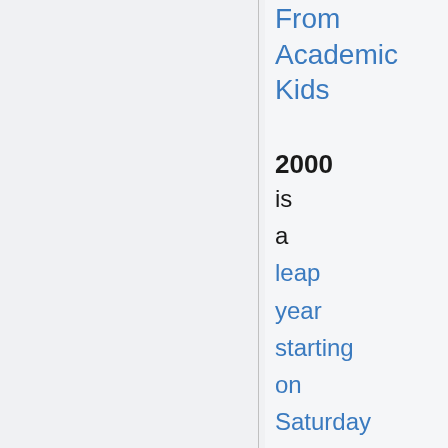From Academic Kids
2000 is a leap year starting on Saturday of the Gregorian calendar